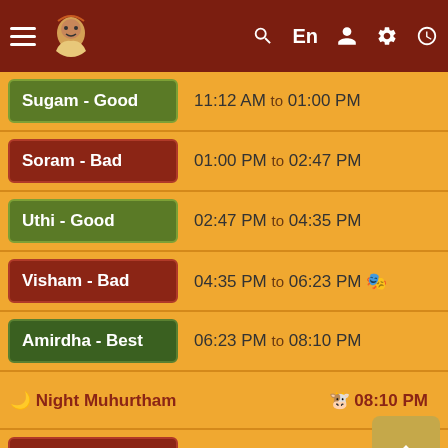App header with hamburger menu, sage icon, search, En, user, settings, clock icons
Sugam - Good | 11:12 AM to 01:00 PM
Soram - Bad | 01:00 PM to 02:47 PM
Uthi - Good | 02:47 PM to 04:35 PM
Visham - Bad | 04:35 PM to 06:23 PM 🎭
Amirdha - Best | 06:23 PM to 08:10 PM
🌙 Night Muhurtham   🐮 08:10 PM
Soram - Bad | 08:10 PM to 09:23 PM
Uthi - Good | 09:23 PM to 10:35 PM
Visham - Bad | 10:35 PM to 11:48 PM